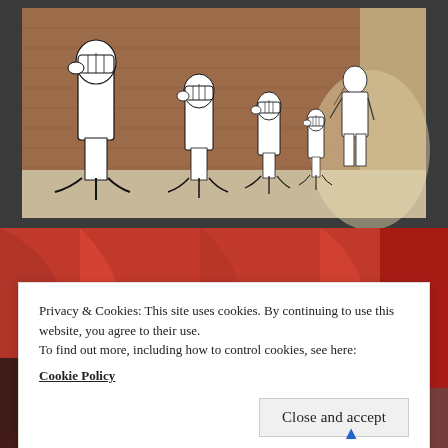[Figure (photo): Street art mural on a brick wall showing a sequence of raised fists growing progressively smaller, with a standing human figure at the right end, painted in black and white on a reddish-brown stone wall in what appears to be a narrow alley.]
[Figure (photo): Partial view of red fabric or flags, partially obscured by the cookie consent overlay.]
Privacy & Cookies: This site uses cookies. By continuing to use this website, you agree to their use.
To find out more, including how to control cookies, see here:
Cookie Policy
Close and accept